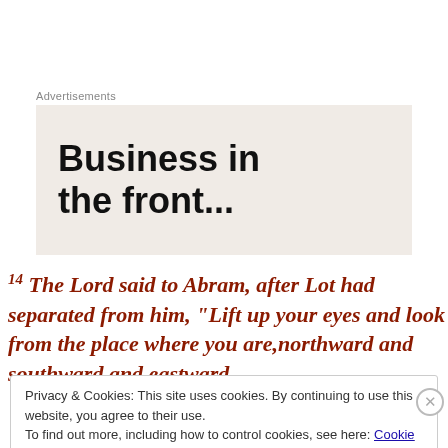Advertisements
[Figure (other): Advertisement box with light beige background showing bold text: Business in the front...]
14 The Lord said to Abram, after Lot had separated from him, “Lift up your eyes and look from the place where you are,northward and southward and eastward
Privacy & Cookies: This site uses cookies. By continuing to use this website, you agree to their use.
To find out more, including how to control cookies, see here: Cookie Policy
Close and accept